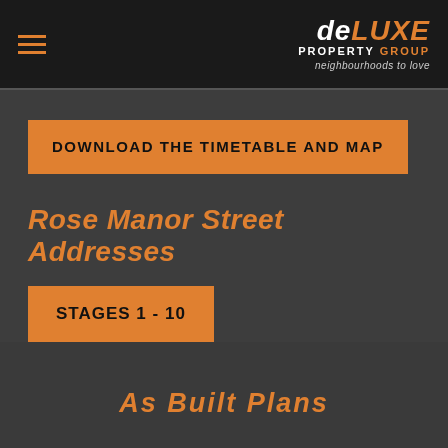Deluxe Property Group — neighbourhoods to love
DOWNLOAD THE TIMETABLE AND MAP
Rose Manor Street Addresses
STAGES 1 - 10
As Built Plans